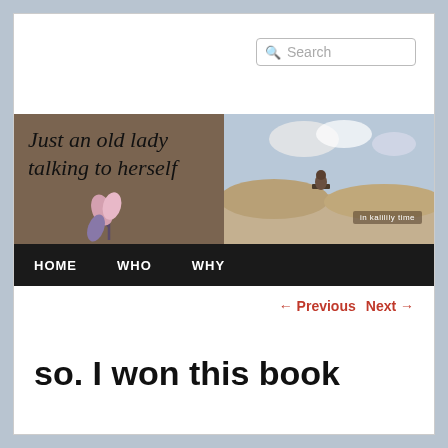[Figure (screenshot): Search bar with magnifying glass icon and placeholder text 'Search']
[Figure (illustration): Blog header banner reading 'Just an old lady talking to herself' with flower illustration on brown background and desert/beach scene on right side with text 'in kalilily time']
HOME  WHO  WHY
← Previous   Next →
so. I won this book